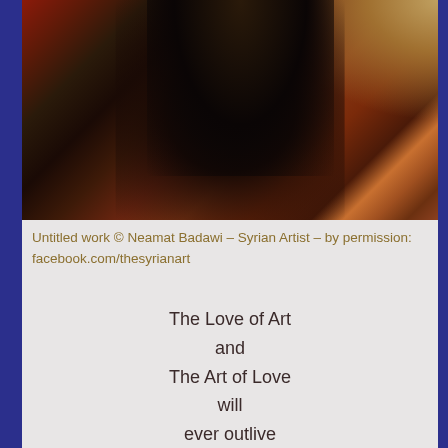[Figure (illustration): Abstract oil painting with dark tones — deep blacks, burnt oranges, and warm golds. Shows a dark figurative form against a textured background with reddish-brown and earthy colors. A glowing warm light appears in the upper right area.]
Untitled work © Neamat Badawi – Syrian Artist – by permission: facebook.com/thesyrianart
The Love of Art
and
The Art of Love
will
ever outlive